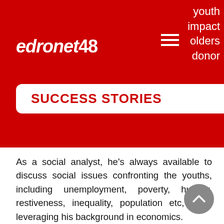youth impact holders donor
[Figure (logo): edronet48 logo in white on red background with hamburger menu icon]
SUCCESS STORIES
As a social analyst, he's always available to discuss social issues confronting the youths, including unemployment, poverty, hunger, restiveness, inequality, population etc, while leveraging his background in economics.
Dr Faith wears the hats of a PanAfricanist, advocate, and impact speaker, having been featured with notable global thought leaders, sharing a stage with the likes of Prof LUMUMBA, while discussing youth